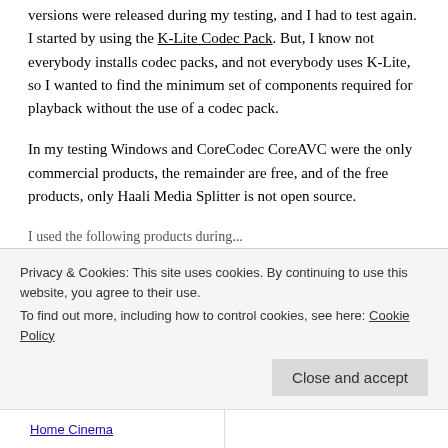versions were released during my testing, and I had to test again. I started by using the K-Lite Codec Pack. But, I know not everybody installs codec packs, and not everybody uses K-Lite, so I wanted to find the minimum set of components required for playback without the use of a codec pack.
In my testing Windows and CoreCodec CoreAVC were the only commercial products, the remainder are free, and of the free products, only Haali Media Splitter is not open source.
Privacy & Cookies: This site uses cookies. By continuing to use this website, you agree to their use.
To find out more, including how to control cookies, see here: Cookie Policy